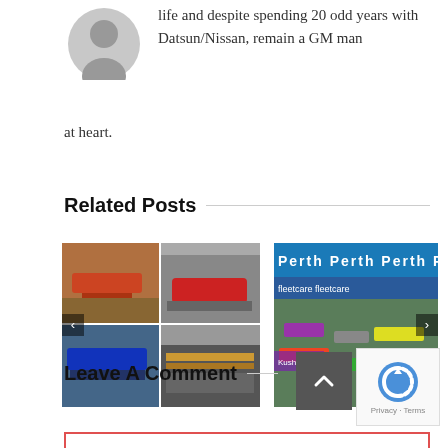life and despite spending 20 odd years with Datsun/Nissan, remain a GM man at heart.
[Figure (photo): Grey avatar/profile placeholder icon]
Related Posts
[Figure (photo): Collage of motorsport racing car images with left arrow navigation]
[Figure (photo): Perth racing event photo with blue Perth branding banner and race cars on track, with right arrow navigation]
Leave A Comment
[Figure (other): Scroll-to-top button (dark grey with up arrow)]
[Figure (other): reCAPTCHA widget with robot icon and Privacy/Terms text]